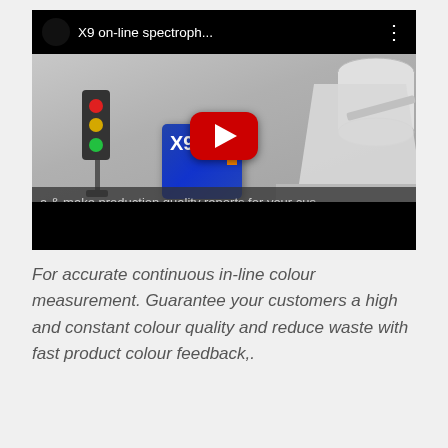[Figure (screenshot): YouTube video thumbnail/player showing 'X9 on-line spectroph...' with a 3D rendered scene of an inline spectrophotometer device (X9) with a traffic light tower indicator and paper roll machinery. A YouTube play button is centered. A subtitle bar reads 'a & make production quality reports for your cus'. Black bars at top and bottom.]
For accurate continuous in-line colour measurement. Guarantee your customers a high and constant colour quality and reduce waste with fast product colour feedback,.